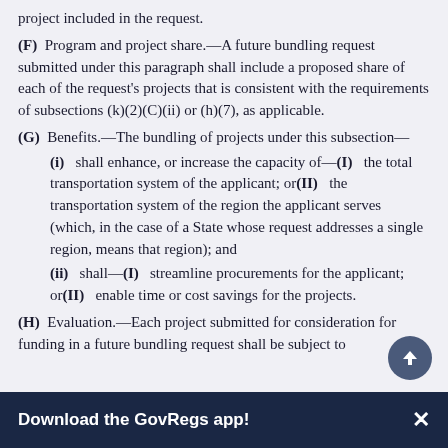project included in the request.
(F) Program and project share.—A future bundling request submitted under this paragraph shall include a proposed share of each of the request's projects that is consistent with the requirements of subsections (k)(2)(C)(ii) or (h)(7), as applicable.
(G) Benefits.—The bundling of projects under this subsection—
(i) shall enhance, or increase the capacity of—(I) the total transportation system of the applicant; or(II) the transportation system of the region the applicant serves (which, in the case of a State whose request addresses a single region, means that region); and
(ii) shall—(I) streamline procurements for the applicant; or(II) enable time or cost savings for the projects.
(H) Evaluation.—Each project submitted for consideration for funding in a future bundling request shall be subject to
Download the GovRegs app!